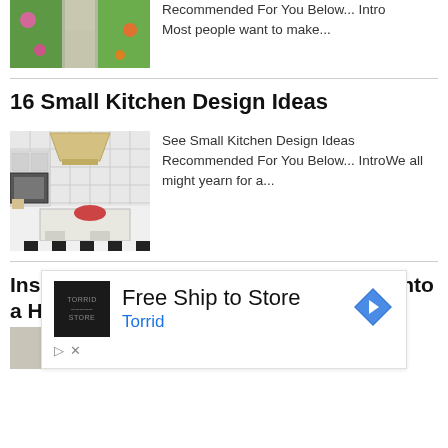[Figure (photo): Garden pathway with colorful flowers and plants on both sides]
Recommended For You Below... Intro
Most people want to make...
16 Small Kitchen Design Ideas
[Figure (photo): White kitchen with island, checkered floor, range hood, and appliances]
See Small Kitchen Design Ideas Recommended For You Below... IntroWe all might yearn for a...
Inspiration: Transform Your Bathroom Into a Home Spa
[Figure (photo): Partial view of bathroom with spa-style decor]
Instead of spending a fortune on a trip...
[Figure (other): Advertisement: Free Ship to Store - Torrid, with Torrid logo and navigation icon]